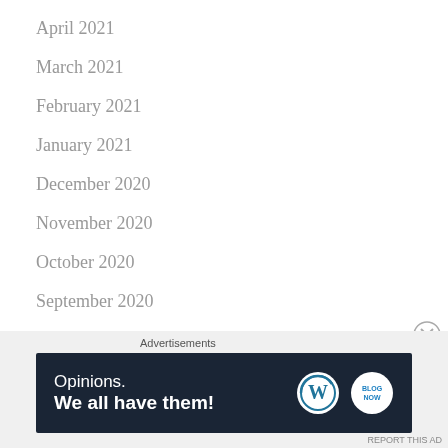April 2021
March 2021
February 2021
January 2021
December 2020
November 2020
October 2020
September 2020
August 2020
July 2020
Advertisements
[Figure (other): Advertisement banner: Opinions. We all have them! with WordPress and another logo on dark navy background]